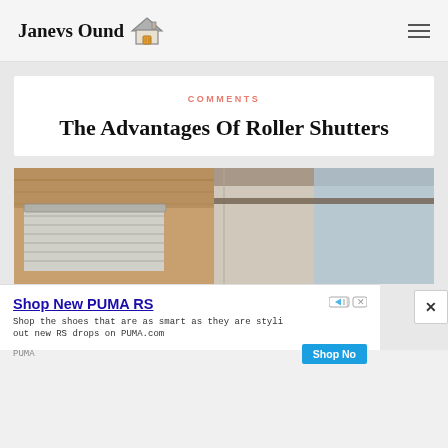Janevs Ound
COMMENTS
The Advantages Of Roller Shutters
[Figure (photo): A building exterior showing roller shutters on a storefront or window, with wooden ceiling/overhang visible on the left and stone/concrete wall on the right under a blue sky]
[Figure (screenshot): Advertisement for PUMA RS shoes - 'Shop New PUMA RS' with body text 'Shop the shoes that are as smart as they are styli out new RS drops on PUMA.com' and a Shop Now button]